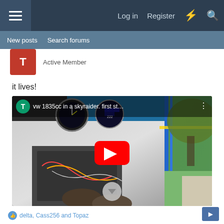Log in  Register
New posts  Search forums
Active Member
it lives!
[Figure (screenshot): YouTube video embed showing 'vw 1835cc in a skyraider. first st...' with a play button overlay. The thumbnail shows cockpit instruments and aircraft interior with scaffolding visible outside.]
delta, Cass256 and Topaz